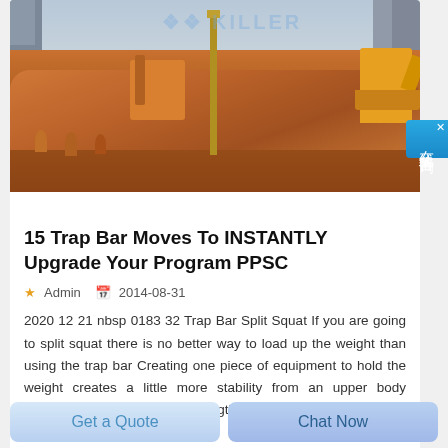[Figure (photo): Construction site photo showing workers, excavators, yellow machinery, drilling tower, and red/orange dirt ground. Watermark text 'KILLER' visible at top.]
15 Trap Bar Moves To INSTANTLY Upgrade Your Program PPSC
Admin   2014-08-31
2020 12 21 nbsp 0183 32 Trap Bar Split Squat If you are going to split squat there is no better way to load up the weight than using the trap bar Creating one piece of equipment to hold the weight creates a little more stability from an upper body perspective while testing strength at a higher level How to Begin at the